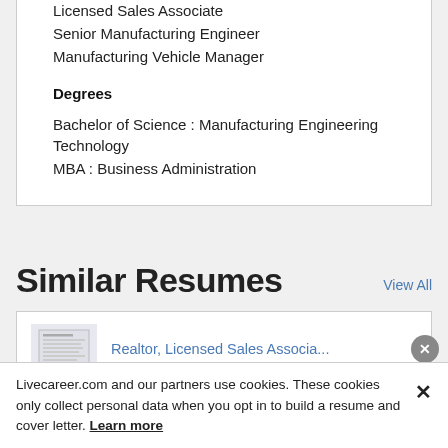Licensed Sales Associate
Senior Manufacturing Engineer
Manufacturing Vehicle Manager
Degrees
Bachelor of Science : Manufacturing Engineering Technology
MBA : Business Administration
Similar Resumes
View All
[Figure (screenshot): Thumbnail preview of a resume document]
Realtor, Licensed Sales Associa...
Livecareer.com and our partners use cookies. These cookies only collect personal data when you opt in to build a resume and cover letter. Learn more